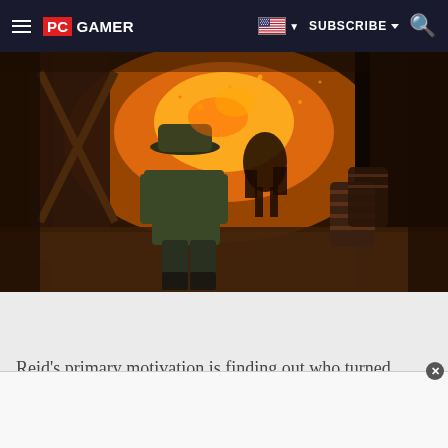PC GAMER  SUBSCRIBE
[Figure (screenshot): Video game screenshot showing a cowboy figure viewed from behind, walking toward a burning building at night. Fire and smoke fill the background. A barrel is visible on the right side. The scene appears to be from a Western-style action game.]
Reid's primary motivation is finding out who turned